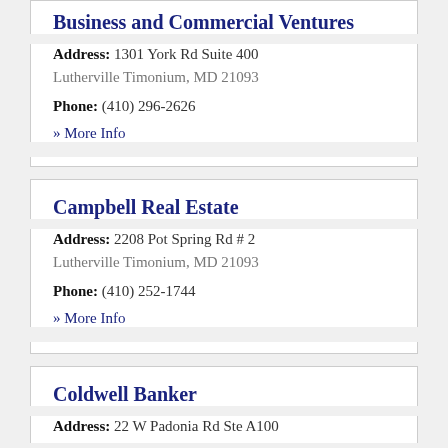Business and Commercial Ventures
Address: 1301 York Rd Suite 400
Lutherville Timonium, MD 21093
Phone: (410) 296-2626
» More Info
Campbell Real Estate
Address: 2208 Pot Spring Rd # 2
Lutherville Timonium, MD 21093
Phone: (410) 252-1744
» More Info
Coldwell Banker
Address: 22 W Padonia Rd Ste A100